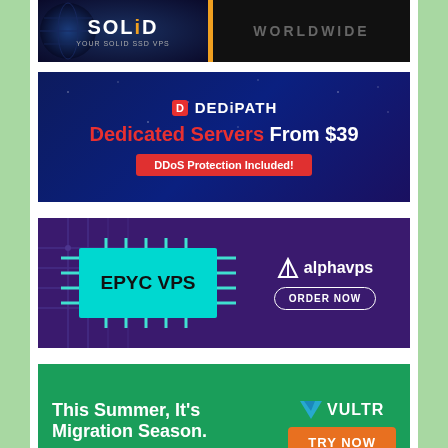[Figure (advertisement): SOLiD SSD VPS advertisement banner with globe imagery, orange divider, and WORLDWIDE text on dark background]
[Figure (advertisement): DediPath advertisement - Dedicated Servers From $39, DDoS Protection Included, dark blue background with red accents]
[Figure (advertisement): AlphaVPS EPYC VPS advertisement with chip graphic, cyan box, purple background, ORDER NOW button]
[Figure (advertisement): Vultr advertisement - This Summer, It's Migration Season. Switch to Vultr today and get $100 credit. Green background with TRY NOW orange button]
[Figure (advertisement): ServerMania advertisement with logo on dark navy background]